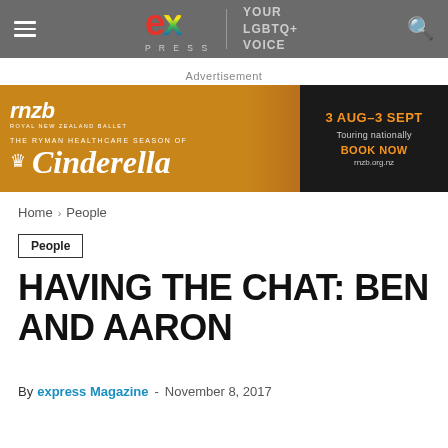ex PRESS | YOUR LGBTQ+ VOICE
Advertisement
[Figure (infographic): rnzb Royal New Zealand Ballet advertisement for The Ryman Healthcare Season of Cinderella, 3 Aug–3 Sept, Touring nationally, BOOK NOW rnzb.org.nz]
Home › People
People
HAVING THE CHAT: BEN AND AARON
By express Magazine - November 8, 2017